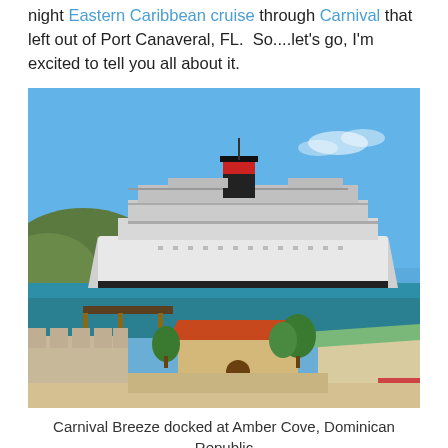night Eastern Caribbean cruise through Carnival that left out of Port Canaveral, FL.  So....let's go, I'm excited to tell you all about it.
[Figure (photo): Carnival Breeze cruise ship docked at Amber Cove, Dominican Republic. A large white cruise ship with a distinctive red and black funnel is docked in turquoise-blue water, with green hills in the background and a port/shopping village in the foreground under a clear blue sky.]
Carnival Breeze docked at Amber Cove, Dominican Republic